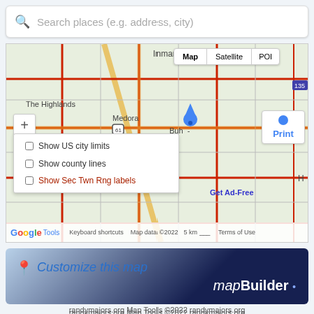[Figure (screenshot): Google Maps search interface showing a map of the Buhler/Inman area in Kansas with search bar, map/satellite/POI tabs, zoom controls, overlay options (Show US city limits, Show county lines, Show Sec Twn Rng labels), Print button, Get Ad-Free link, and Google Tools footer. Map data ©2022, 5 km scale bar.]
[Figure (screenshot): MapBuilder promotional banner with location pin icon, 'Customize this map' text in blue, and 'mapBuilder' branding in white italic on dark blue gradient background.]
randymajors.org Map Tools ©2022 randymajors.org
Township 22 South,